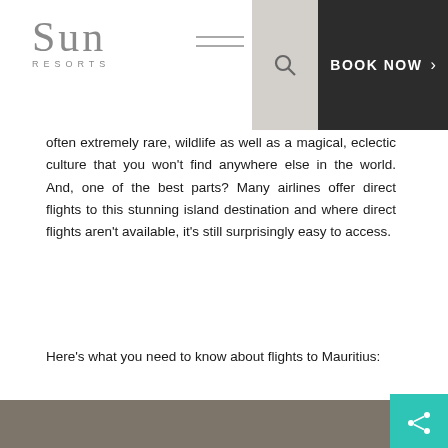[Figure (logo): Sun Resorts logo with hamburger menu icon]
EN  |  Search  |  BOOK NOW >
often extremely rare, wildlife as well as a magical, eclectic culture that you won't find anywhere else in the world. And, one of the best parts? Many airlines offer direct flights to this stunning island destination and where direct flights aren't available, it's still surprisingly easy to access.
Here's what you need to know about flights to Mauritius:
This website uses cookies for analytics, personalisation and advertising. Click here to learn more or to change your cookie settings. Click "Accept" if you agree to our use of cookies. You can change your cookie settings anytime by accessing our Cookie Policy page by clicking on the link in the website's footer.
Accept    >  Personalize